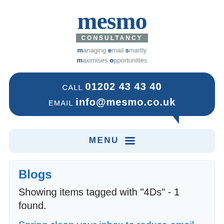[Figure (logo): Mesmo Consultancy logo: large blue serif 'mesmo' text, grey 'CONSULTANCY' banner, grey tagline 'managing email smartly maximises opportunities' with bold blue first letters m, e, s, m, o]
CALL 01202 43 43 40
EMAIL info@mesmo.co.uk
MENU ≡
Blogs
Showing items tagged with "4Ds" - 1 found.
Spring clean your inbox to reduce email overload stress